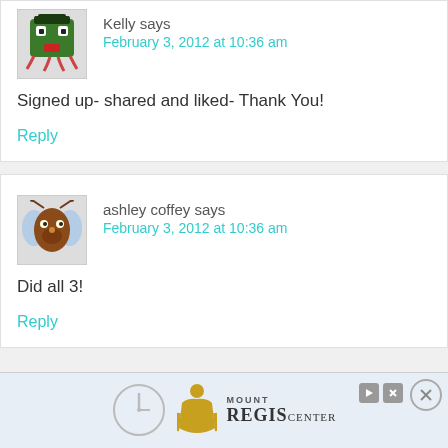Kelly says
February 3, 2012 at 10:36 am
Signed up- shared and liked- Thank You!
Reply
ashley coffey says
February 3, 2012 at 10:36 am
Did all 3!
Reply
[Figure (logo): Mount Regis Center advertisement banner with clock icon and logo]